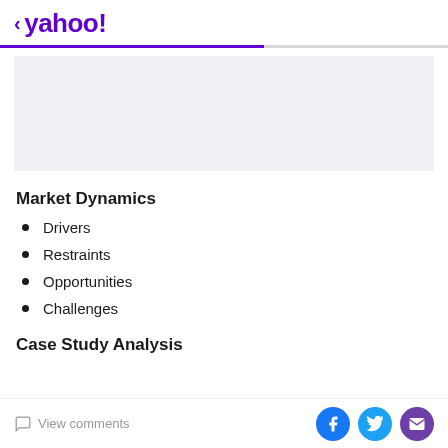< yahoo!
[Figure (other): Light blue-grey ad placeholder rectangle]
Market Dynamics
Drivers
Restraints
Opportunities
Challenges
Case Study Analysis
View comments